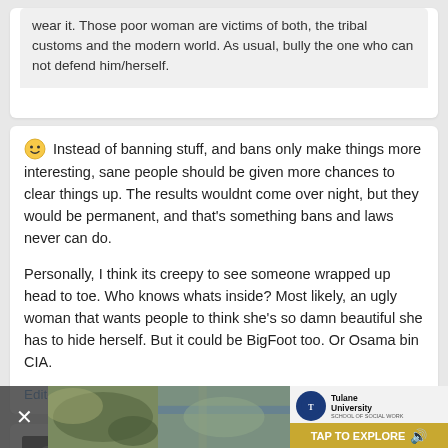wear it. Those poor woman are victims of both, the tribal customs and the modern world. As usual, bully the one who can not defend him/herself.
🙂 Instead of banning stuff, and bans only make things more interesting, sane people should be given more chances to clear things up. The results wouldnt come over night, but they would be permanent, and that's something bans and laws never can do.

Personally, I think its creepy to see someone wrapped up head to toe. Who knows whats inside? Most likely, an ugly woman that wants people to think she's so damn beautiful she has to hide herself. But it could be BigFoot too. Or Osama bin CIA.
Edited April 11, 2011 by Helen of Annoy
ships-cat
#15